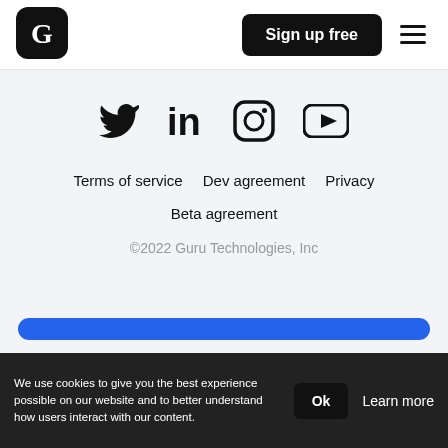Guru logo | Sign up free | Menu
[Figure (logo): Guru G logo in black rounded square]
Sign up free
[Figure (illustration): Social media icons: Twitter, LinkedIn, Instagram, YouTube]
Terms of service
Dev agreement
Privacy
Beta agreement
©2022 Guru Technologies, Inc
We use cookies to give you the best experience possible on our website and to better understand how users interact with our content.
Ok
Learn more